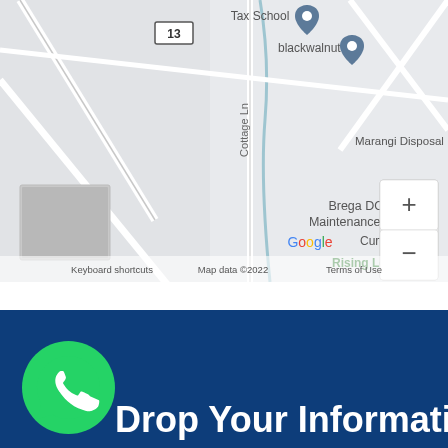[Figure (map): Google Maps screenshot showing roads including Cottage Ln, businesses including Tax School, blackwalnut, Brega DOT Maintenance Corp, Marangi Disposal, Curti's La, Rising Legends. Map controls with + and - zoom buttons. Google logo, Keyboard shortcuts, Map data ©2022, Terms of Use labels. Route 13 marker visible. Small street view thumbnail in lower left.]
[Figure (logo): WhatsApp circular green logo icon]
Drop Your Information,